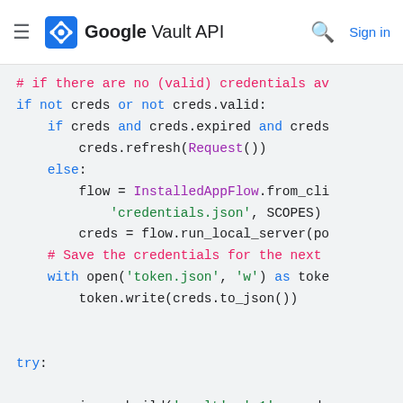Google Vault API
[Figure (screenshot): Python code snippet showing credential handling and Google Vault API call with syntax highlighting on a light gray background]